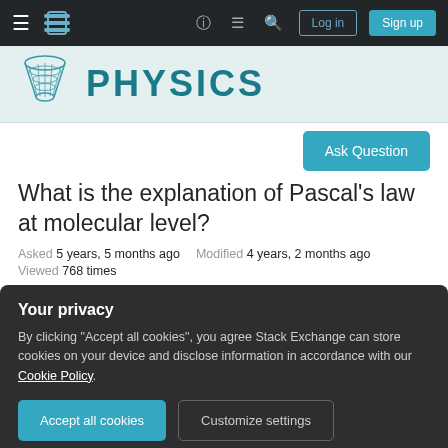Physics Stack Exchange navigation bar with hamburger menu, logo, icons, Log in and Sign up buttons
[Figure (logo): Physics Stack Exchange site header with cone/hourglass logo and PHYSICS text]
Ask Question
What is the explanation of Pascal's law at molecular level?
Asked 5 years, 5 months ago   Modified 4 years, 2 months ago
Viewed 768 times
Your privacy
By clicking "Accept all cookies", you agree Stack Exchange can store cookies on your device and disclose information in accordance with our Cookie Policy.
Accept all cookies   Customize settings